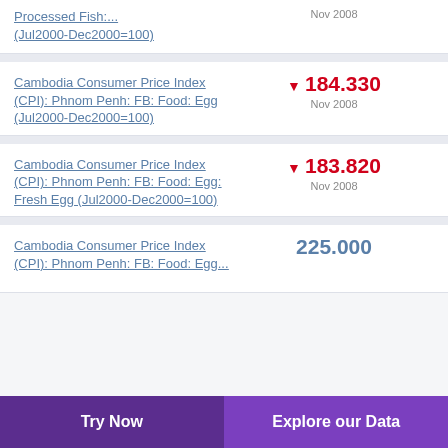Processed Fish:... (Jul2000-Dec2000=100)
Cambodia Consumer Price Index (CPI): Phnom Penh: FB: Food: Egg (Jul2000-Dec2000=100)
Cambodia Consumer Price Index (CPI): Phnom Penh: FB: Food: Egg: Fresh Egg (Jul2000-Dec2000=100)
Cambodia Consumer Price Index (CPI): Phnom Penh: FB: Food: Egg...
Try Now   Explore our Data